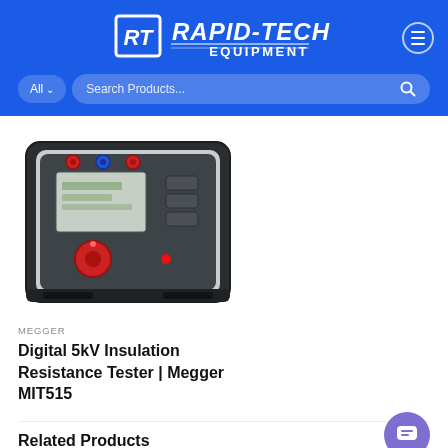[Figure (logo): Rapid-Tech Equipment logo — white bold italic text with RT monogram in a square bracket, on blue background]
[Figure (screenshot): Search bar UI element with All dropdown and Search Products... placeholder, on blue background]
[Figure (photo): Megger MIT515 Digital 5kV Insulation Resistance Tester in a dark carrying case, viewed from slightly above. Device shows red and blue terminals, LCD display, and red rotary knob.]
MEGGER
Digital 5kV Insulation Resistance Tester | Megger MIT515
Related Products